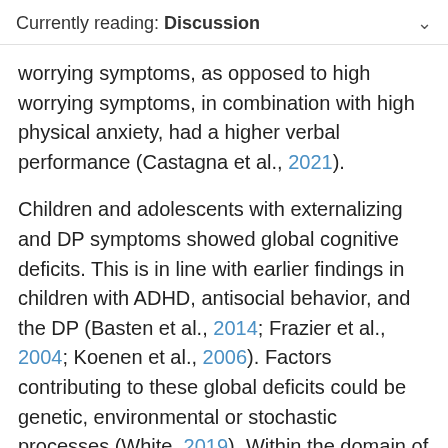Currently reading: Discussion
worrying symptoms, as opposed to high worrying symptoms, in combination with high physical anxiety, had a higher verbal performance (Castagna et al., 2021).
Children and adolescents with externalizing and DP symptoms showed global cognitive deficits. This is in line with earlier findings in children with ADHD, antisocial behavior, and the DP (Basten et al., 2014; Frazier et al., 2004; Koenen et al., 2006). Factors contributing to these global deficits could be genetic, environmental or stochastic processes (White, 2019). Within the domain of modifiable factors, education plays an important role in cognitive development. Externalizing symptoms can interfere with school functioning (Moilanen et al., 2010; Van der Ende et al., 2016) and worse academic performance can lead to